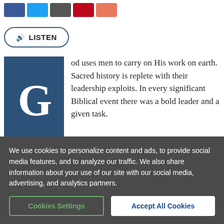[Figure (other): Row of social media share buttons: Facebook (blue), Twitter (blue), Email/share (dark grey), Pinterest (red), orange share button]
LISTEN
od uses men to carry on His work on earth. Sacred history is replete with their leadership exploits. In every significant Biblical event there was a bold leader and a given task.
Look them over: Noah and the Flood, Joseph and the
We use cookies to personalize content and ads, to provide social media features, and to analyze our traffic. We also share information about your use of our site with our social media, advertising, and analytics partners.
Cookies Settings
Accept All Cookies